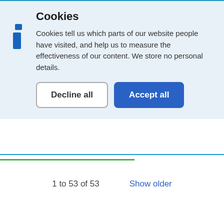Cookies
Cookies tell us which parts of our website people have visited, and help us to measure the effectiveness of our content. We store no personal details.
Decline all
Accept all
1 to 53 of 53
Show older